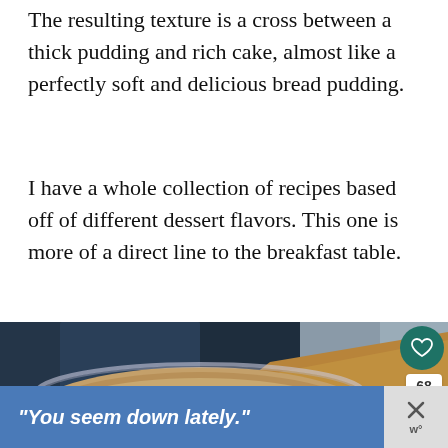The resulting texture is a cross between a thick pudding and rich cake, almost like a perfectly soft and delicious bread pudding.
I have a whole collection of recipes based off of different dessert flavors. This one is more of a direct line to the breakfast table.
[Figure (photo): Overhead view of a glass bowl containing a pudding-like batter, with a dark blue cloth in the background and a wooden spoon visible]
"You seem down lately."